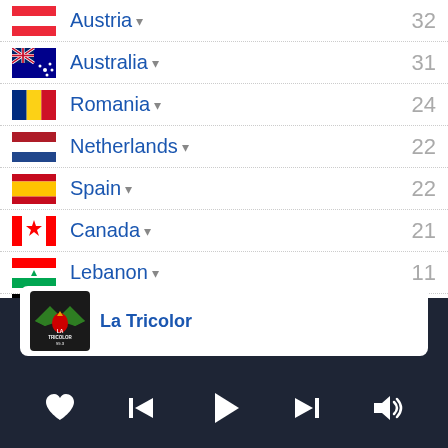Austria 32
Australia 31
Romania 24
Netherlands 22
Spain 22
Canada 21
Lebanon 11
Belgium 11
La Tricolor
[Figure (screenshot): Media player controls: heart/favorite, skip back, play, skip forward, volume]